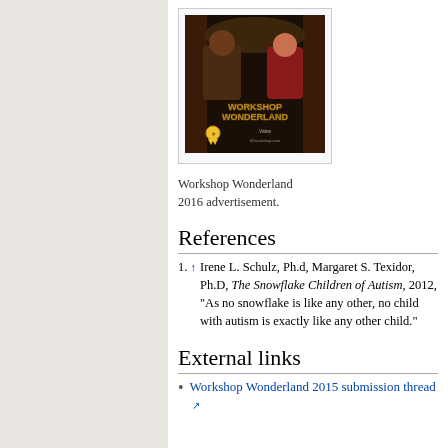[Figure (illustration): Workshop Wonderland 2016 advertisement showing two game characters posing with game title text and a ribbon/badge award icon]
Workshop Wonderland 2016 advertisement.
References
↑ Irene L. Schulz, Ph.d, Margaret S. Texidor, Ph.D, The Snowflake Children of Autism, 2012, "As no snowflake is like any other, no child with autism is exactly like any other child."
External links
Workshop Wonderland 2015 submission thread